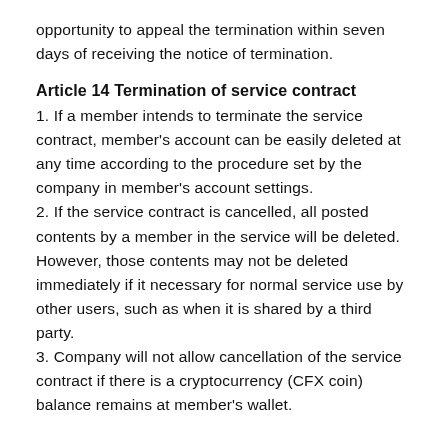opportunity to appeal the termination within seven days of receiving the notice of termination.
Article 14 Termination of service contract
1. If a member intends to terminate the service contract, member's account can be easily deleted at any time according to the procedure set by the company in member's account settings.
2. If the service contract is cancelled, all posted contents by a member in the service will be deleted. However, those contents may not be deleted immediately if it necessary for normal service use by other users, such as when it is shared by a third party.
3. Company will not allow cancellation of the service contract if there is a cryptocurrency (CFX coin) balance remains at member's wallet.